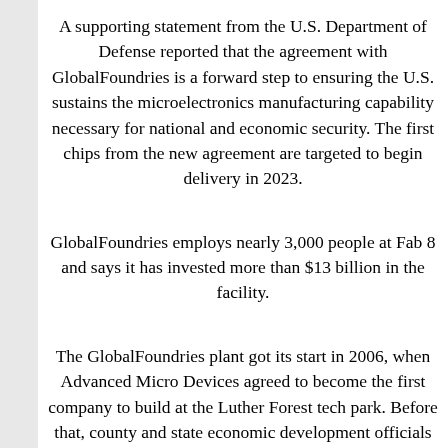A supporting statement from the U.S. Department of Defense reported that the agreement with GlobalFoundries is a forward step to ensuring the U.S. sustains the microelectronics manufacturing capability necessary for national and economic security. The first chips from the new agreement are targeted to begin delivery in 2023.
GlobalFoundries employs nearly 3,000 people at Fab 8 and says it has invested more than $13 billion in the facility.
The GlobalFoundries plant got its start in 2006, when Advanced Micro Devices agreed to become the first company to build at the Luther Forest tech park. Before that, county and state economic development officials had spent six years preparing and marketing the tech park as a site for semiconductor manufacturing. As the project advanced, Advanced Micro Devices spun off the manufacturing facility in a joint venture with the government of Abu